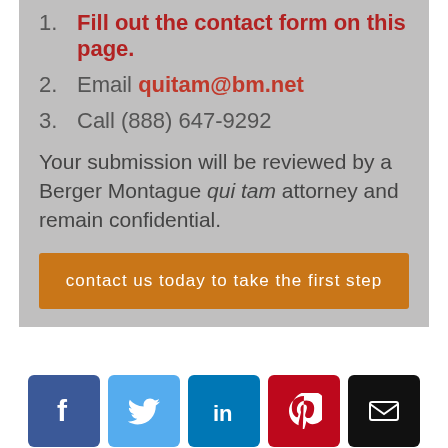1. Fill out the contact form on this page.
2. Email quitam@bm.net
3. Call (888) 647-9292
Your submission will be reviewed by a Berger Montague qui tam attorney and remain confidential.
contact us today to take the first step
[Figure (other): Social media icon buttons: Facebook, Twitter, LinkedIn, Pinterest, Email]